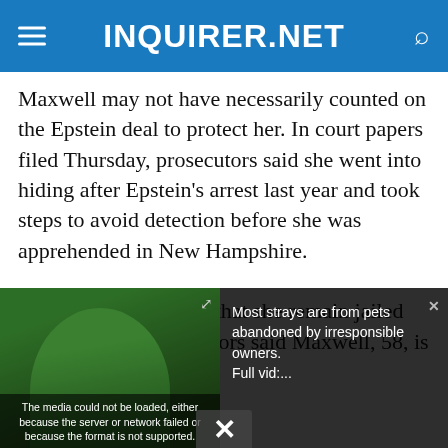INQUIRER.NET
Maxwell may not have necessarily counted on the Epstein deal to protect her. In court papers filed Thursday, prosecutors said she went into hiding after Epstein’s arrest last year and took steps to avoid detection before she was apprehended in New Hampshire.
In a memo requesting that she remain jailed until her trial, prosecutors said Maxwell, 58, is linked to
[Figure (screenshot): Video player overlay showing error message: 'The media could not be loaded, either because the server or network failed or because the format is not supported.' Sidebar shows text: 'Most strays are from pets abandoned by irresponsible owners. Full vid:...' with a close button (x) and an X dismiss button at the bottom.]